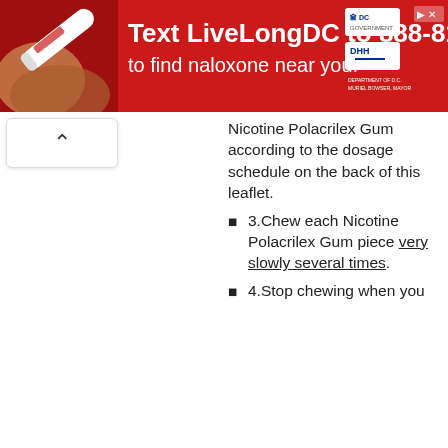[Figure (infographic): Red advertisement banner: Text LiveLongDC to 888-811 to find naloxone near you. Shows a hand holding a naloxone injector pen, with DC government and DHH logos.]
Nicotine Polacrilex Gum according to the dosage schedule on the back of this leaflet.
3.Chew each Nicotine Polacrilex Gum piece very slowly several times.
4.Stop chewing when you